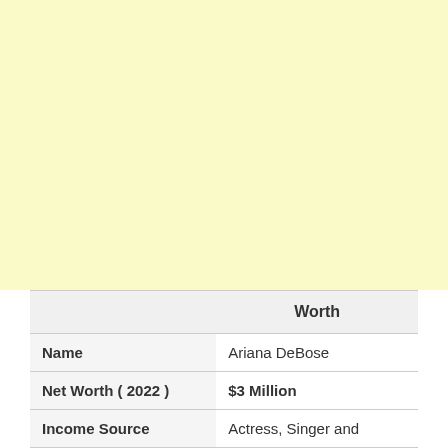[Figure (other): Light yellow background area occupying the top portion of the page]
|  | Worth |
| --- | --- |
| Name | Ariana DeBose |
| Net Worth ( 2022 ) | $3 Million |
| Income Source | Actress, Singer and |